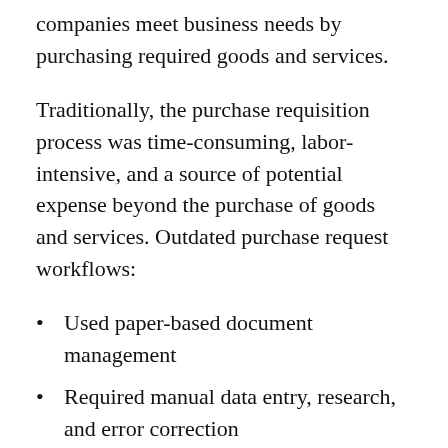companies meet business needs by purchasing required goods and services.
Traditionally, the purchase requisition process was time-consuming, labor-intensive, and a source of potential expense beyond the purchase of goods and services. Outdated purchase request workflows:
Used paper-based document management
Required manual data entry, research, and error correction
Provided minimal spend visibility
Did not allow procurement teams to track